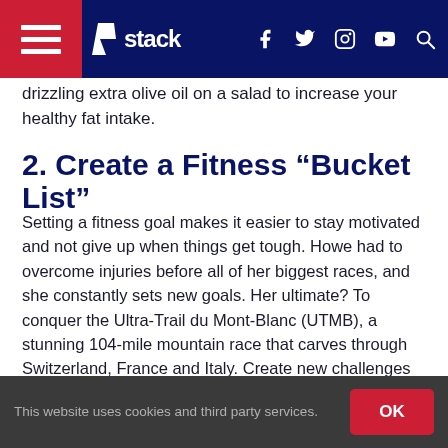stack — navigation bar with hamburger menu, logo, social icons (f, twitter, instagram, youtube) and search
drizzling extra olive oil on a salad to increase your healthy fat intake.
2. Create a Fitness “Bucket List”
Setting a fitness goal makes it easier to stay motivated and not give up when things get tough. Howe had to overcome injuries before all of her biggest races, and she constantly sets new goals. Her ultimate? To conquer the Ultra-Trail du Mont-Blanc (UTMB), a stunning 104-mile mountain race that carves through Switzerland, France and Italy. Create new challenges for yourself so you never run out of goals.
This website uses cookies and third party services. OK